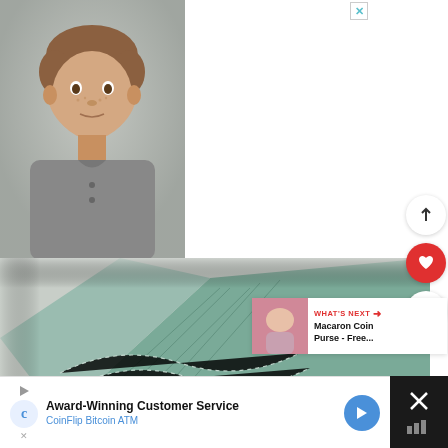[Figure (photo): Advertisement banner: left half shows a young boy with freckles wearing a gray polo shirt (gray photo background). Right half is teal/light blue background with bold text 'Help find forever families for children in foster care.', a faded 'GIVE NOW' button, and the Dave Thomas Foundation for Adoption logo with heart/figure icon.]
Help find forever families for children in foster care.
GIVE NOW
Dave Thomas Foundation for Adoption
[Figure (photo): Close-up photo of teal/green knitted or woven fabric with visible stitching, on a light gray background.]
WHAT'S NEXT → Macaron Coin Purse - Free...
Award-Winning Customer Service
CoinFlip Bitcoin ATM